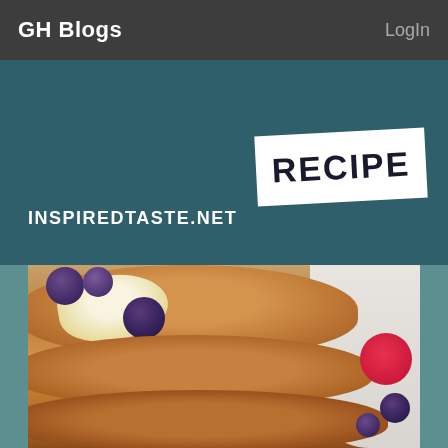GH Blogs   LogIn
RECIPE
INSPIREDTASTE.NET
[Figure (photo): Stack of fluffy pancakes topped with butter and blueberries, with raspberries and blueberries on the side, drizzled with maple syrup]